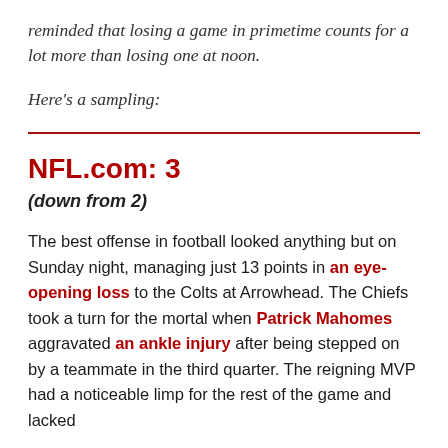reminded that losing a game in primetime counts for a lot more than losing one at noon.
Here's a sampling:
NFL.com: 3
(down from 2)
The best offense in football looked anything but on Sunday night, managing just 13 points in an eye-opening loss to the Colts at Arrowhead. The Chiefs took a turn for the mortal when Patrick Mahomes aggravated an ankle injury after being stepped on by a teammate in the third quarter. The reigning MVP had a noticeable limp for the rest of the game and lacked